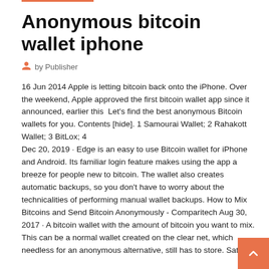Anonymous bitcoin wallet iphone
by Publisher
16 Jun 2014 Apple is letting bitcoin back onto the iPhone. Over the weekend, Apple approved the first bitcoin wallet app since it announced, earlier this  Let's find the best anonymous Bitcoin wallets for you. Contents [hide]. 1 Samourai Wallet; 2 Rahakott Wallet; 3 BitLox; 4
Dec 20, 2019 · Edge is an easy to use Bitcoin wallet for iPhone and Android. Its familiar login feature makes using the app a breeze for people new to bitcoin. The wallet also creates automatic backups, so you don't have to worry about the technicalities of performing manual wallet backups. How to Mix Bitcoins and Send Bitcoin Anonymously - Comparitech Aug 30, 2017 · A bitcoin wallet with the amount of bitcoin you want to mix. This can be a normal wallet created on the clear net, which needless for an anonymous alternative, still has to store. Satel...